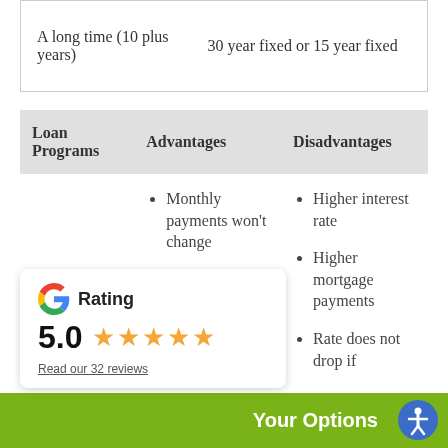| A long time (10 plus years) | 30 year fixed or 15 year fixed |
| Loan Programs | Advantages | Disadvantages |
| --- | --- | --- |
|  | Monthly payments won't change | Higher interest rate
Higher mortgage payments
Rate does not drop if |
[Figure (other): Google rating widget showing 5.0 stars with 5 gold stars and a link to read 32 reviews]
Your Options